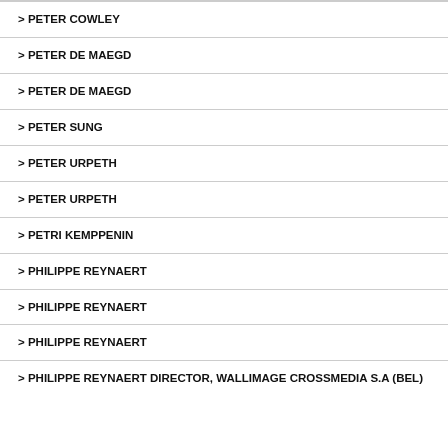> PETER COWLEY
> PETER DE MAEGD
> PETER DE MAEGD
> PETER SUNG
> PETER URPETH
> PETER URPETH
> PETRI KEMPPENIN
> PHILIPPE REYNAERT
> PHILIPPE REYNAERT
> PHILIPPE REYNAERT
> PHILIPPE REYNAERT DIRECTOR, WALLIMAGE CROSSMEDIA S.A (BEL)